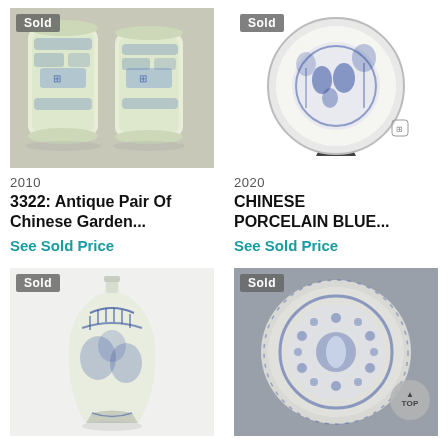[Figure (photo): Two blue and white Chinese garden stools with a 'Sold' badge overlay]
[Figure (photo): Chinese porcelain blue and white decorative plate on a stand with a 'Sold' badge overlay]
2010
2020
3322: Antique Pair Of Chinese Garden...
CHINESE PORCELAIN BLUE...
See Sold Price
See Sold Price
[Figure (photo): Blue and white Chinese vase with floral design and a 'Sold' badge overlay]
[Figure (photo): Blue and white Chinese decorative plate/dish on grey background with a 'Sold' badge overlay]